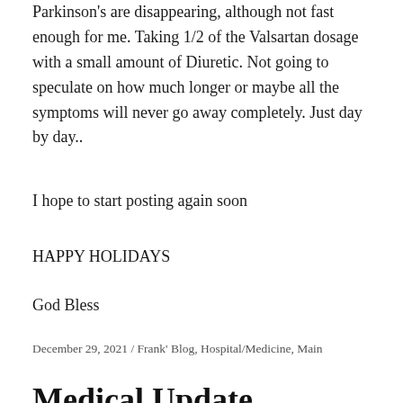Parkinson's are disappearing, although not fast enough for me.   Taking 1/2 of the Valsartan dosage with a small amount of Diuretic. Not going to speculate on how much longer or maybe all the symptoms will never go away completely.  Just day by day..
I hope to start posting again soon
HAPPY HOLIDAYS
God Bless
December 29, 2021  /  Frank' Blog, Hospital/Medicine, Main
Medical Update